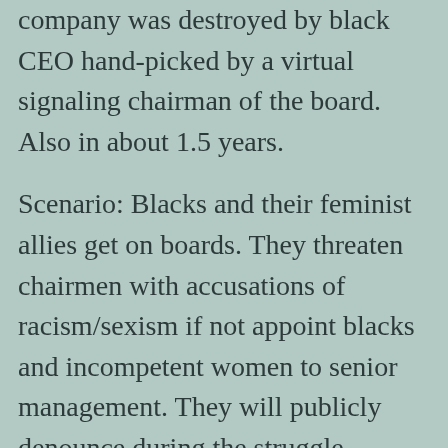company was destroyed by black CEO hand-picked by a virtual signaling chairman of the board. Also in about 1.5 years.
Scenario: Blacks and their feminist allies get on boards. They threaten chairmen with accusations of racism/sexism if not appoint blacks and incompetent women to senior management. They will publicly denounce during the struggle session via social media; or the chairman anticipates and caves.
Reply